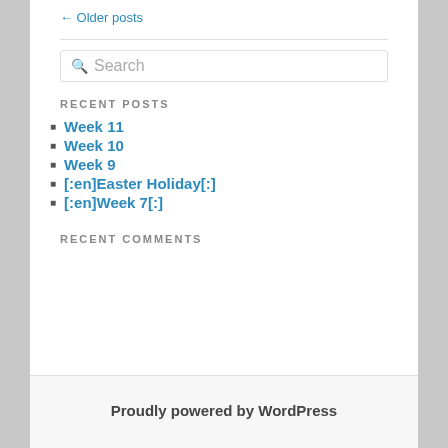← Older posts
RECENT POSTS
Week 11
Week 10
Week 9
[:en]Easter Holiday[:]
[:en]Week 7[:]
RECENT COMMENTS
Proudly powered by WordPress